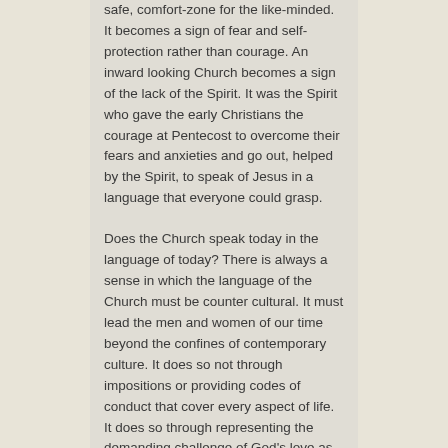safe, comfort-zone for the like-minded. It becomes a sign of fear and self-protection rather than courage. An inward looking Church becomes a sign of the lack of the Spirit. It was the Spirit who gave the early Christians the courage at Pentecost to overcome their fears and anxieties and go out, helped by the Spirit, to speak of Jesus in a language that everyone could grasp.
Does the Church speak today in the language of today? There is always a sense in which the language of the Church must be counter cultural. It must lead the men and women of our time beyond the confines of contemporary culture. It does so not through impositions or providing codes of conduct that cover every aspect of life. It does so through representing the demanding challenge of God's love as revealed in